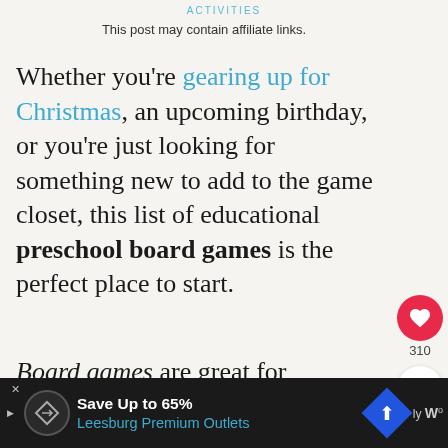ACTIVITIES
This post may contain affiliate links.
Whether you're gearing up for Christmas, an upcoming birthday, or you're just looking for something new to add to the game closet, this list of educational preschool board games is the perfect place to start.
Board games are great for connecting with the family and
WHAT'S NEXT → 12 Classic Preschool...
[Figure (other): Advertisement bar: Save Up to 65% Leesburg Premium Outlets]